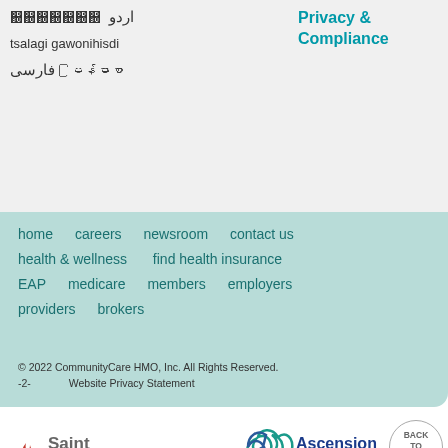اردو  မြန်မာစာ  tsalagi gawonihisdi  فارسی  မြန်မာစာ
Privacy & Compliance
home  careers  newsroom  contact us  health & wellness  find health insurance  EAP  medicare  members  employers  providers  brokers
© 2022 CommunityCare HMO, Inc. All Rights Reserved.
-2-    Website Privacy Statement
[Figure (logo): Saint Francis Health System logo with flame icon]
[Figure (logo): Ascension St. John logo with triquetra symbol]
CommunityCare is proudly owned by two of the region's premier health systems. Other physicians and providers are available in our network.